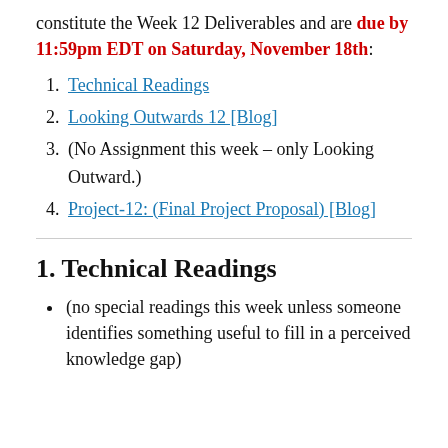constitute the Week 12 Deliverables and are due by 11:59pm EDT on Saturday, November 18th:
Technical Readings
Looking Outwards 12 [Blog]
(No Assignment this week – only Looking Outward.)
Project-12: (Final Project Proposal) [Blog]
1. Technical Readings
(no special readings this week unless someone identifies something useful to fill in a perceived knowledge gap)